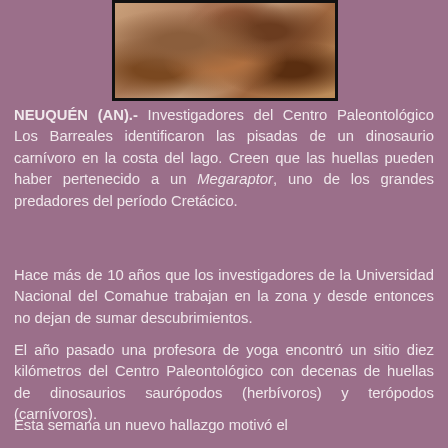[Figure (photo): Close-up photograph of fossilized dinosaur footprints or rocky surface with pinkish-brown stone texture]
NEUQUÉN (AN).- Investigadores del Centro Paleontológico Los Barreales identificaron las pisadas de un dinosaurio carnívoro en la costa del lago. Creen que las huellas pueden haber pertenecido a un Megaraptor, uno de los grandes predadores del período Cretácico.
Hace más de 10 años que los investigadores de la Universidad Nacional del Comahue trabajan en la zona y desde entonces no dejan de sumar descubrimientos.
El año pasado una profesora de yoga encontró un sitio diez kilómetros del Centro Paleontológico con decenas de huellas de dinosaurios saurópodos (herbívoros) y terópodos (carnívoros).
Esta semana un nuevo hallazgo motivó el